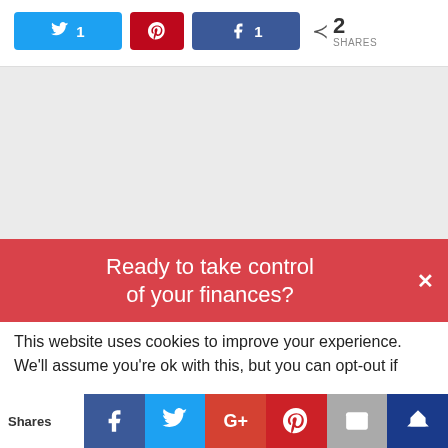[Figure (screenshot): Social share buttons: Twitter (1), Pinterest, Facebook (1), and a share count showing 2 SHARES]
[Figure (screenshot): Gray advertisement/content placeholder area]
Ready to take control of your finances?
This website uses cookies to improve your experience. We'll assume you're ok with this, but you can opt-out if
[Figure (screenshot): Bottom share bar with Shares label and social icons: Facebook, Twitter, Google+, Pinterest, Mail, Crown]